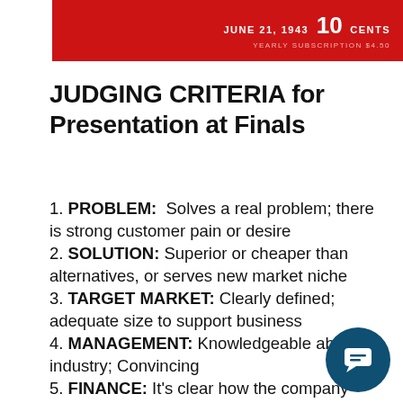[Figure (other): Red banner header with date JUNE 21, 1943, price 10 CENTS, and YEARLY SUBSCRIPTION $4.50]
JUDGING CRITERIA for Presentation at Finals
1. PROBLEM:  Solves a real problem; there is strong customer pain or desire
2. SOLUTION: Superior or cheaper than alternatives, or serves new market niche
3. TARGET MARKET: Clearly defined; adequate size to support business
4. MANAGEMENT: Knowledgeable about industry; Convincing
5. FINANCE: It's clear how the company will make money
6. FUNDING: It's clear how much the company needs to launch or grow. (If company does not require funding at this time, it may have an alternate